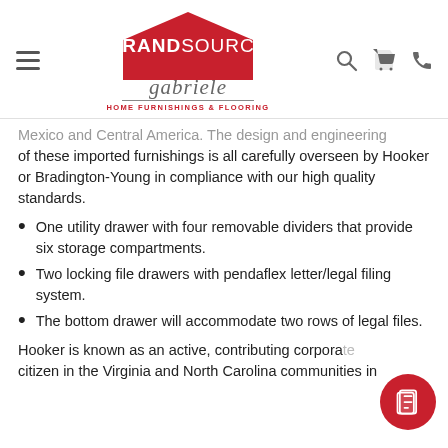[Figure (logo): BrandSource Gabriele Home Furnishings & Flooring logo with red house shape and script text]
...Mexico and Central America. The design and engineering of these imported furnishings is all carefully overseen by Hooker or Bradington-Young in compliance with our high quality standards.
One utility drawer with four removable dividers that provide six storage compartments.
Two locking file drawers with pendaflex letter/legal filing system.
The bottom drawer will accommodate two rows of legal files.
Hooker is known as an active, contributing corporate citizen in the Virginia and North Carolina communities in